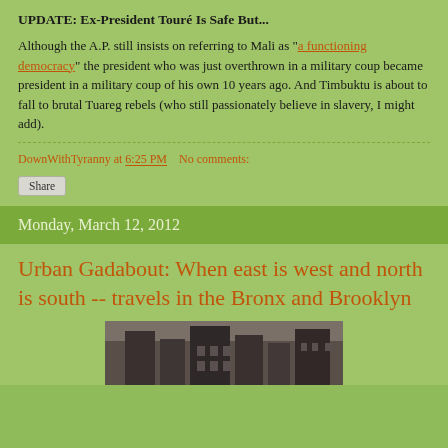UPDATE: Ex-President Touré Is Safe But...
Although the A.P. still insists on referring to Mali as "a functioning democracy" the president who was just overthrown in a military coup became president in a military coup of his own 10 years ago. And Timbuktu is about to fall to brutal Tuareg rebels (who still passionately believe in slavery, I might add).
DownWithTyranny at 6:25 PM    No comments:
Share
Monday, March 12, 2012
Urban Gadabout: When east is west and north is south -- travels in the Bronx and Brooklyn
[Figure (photo): Partial view of a brick building, likely in the Bronx or Brooklyn, with dark stone architecture visible at the bottom of the image]